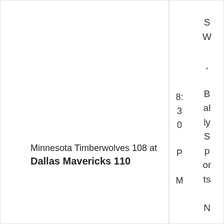Minnesota Timberwolves 108 at Dallas Mavericks 110
8:30 PM
SW, Bally Sports Northwest